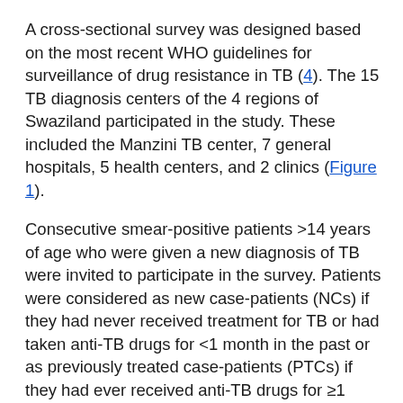A cross-sectional survey was designed based on the most recent WHO guidelines for surveillance of drug resistance in TB (4). The 15 TB diagnosis centers of the 4 regions of Swaziland participated in the study. These included the Manzini TB center, 7 general hospitals, 5 health centers, and 2 clinics (Figure 1).
Consecutive smear-positive patients >14 years of age who were given a new diagnosis of TB were invited to participate in the survey. Patients were considered as new case-patients (NCs) if they had never received treatment for TB or had taken anti-TB drugs for <1 month in the past or as previously treated case-patients (PTCs) if they had ever received anti-TB drugs for ≥1 month. PTCs included patients who returned after defaulting treatment, experienced TB relapses, or had TB treatment failure according to WHO case definitions (10). To be consistent with the